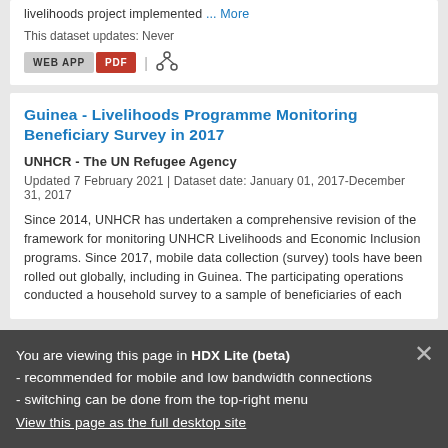livelihoods project implemented ... More
This dataset updates: Never
WEB APP | PDF
Guinea - Livelihoods Programme Monitoring Beneficiary Survey in 2017
UNHCR - The UN Refugee Agency
Updated 7 February 2021 | Dataset date: January 01, 2017-December 31, 2017
Since 2014, UNHCR has undertaken a comprehensive revision of the framework for monitoring UNHCR Livelihoods and Economic Inclusion programs. Since 2017, mobile data collection (survey) tools have been rolled out globally, including in Guinea. The participating operations conducted a household survey to a sample of beneficiaries of each
This dataset updates: Never
You are viewing this page in HDX Lite (beta)
- recommended for mobile and low bandwidth connections
- switching can be done from the top-right menu
View this page as the full desktop site